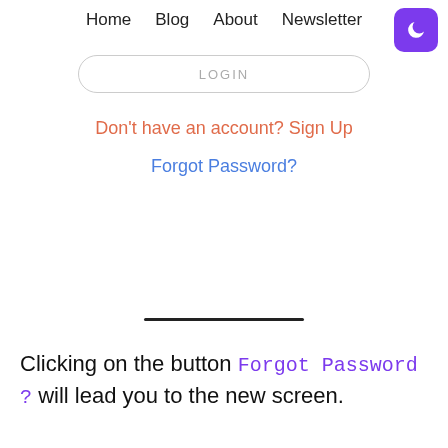Home   Blog   About   Newsletter
LOGIN
Don't have an account? Sign Up
Forgot Password?
[Figure (other): Horizontal black separator line]
Clicking on the button Forgot Password ? will lead you to the new screen.